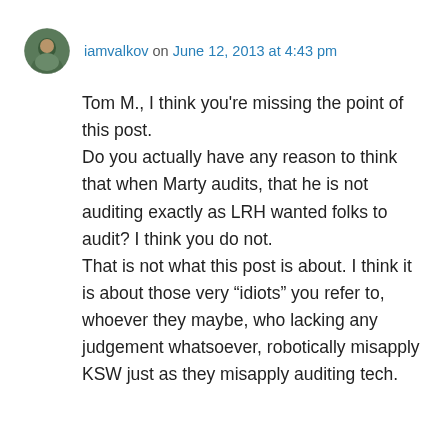iamvalkov on June 12, 2013 at 4:43 pm
Tom M., I think you're missing the point of this post.
Do you actually have any reason to think that when Marty audits, that he is not auditing exactly as LRH wanted folks to audit? I think you do not.
That is not what this post is about. I think it is about those very “idiots” you refer to, whoever they maybe, who lacking any judgement whatsoever, robotically misapply KSW just as they misapply auditing tech.